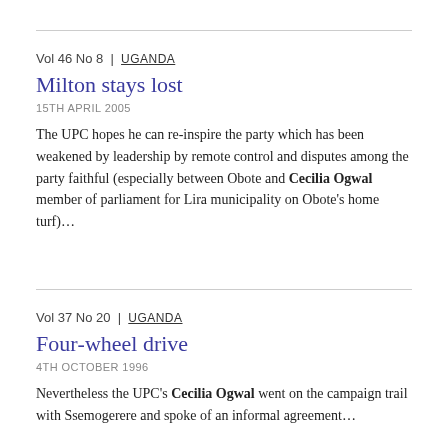Vol 46 No 8 | UGANDA
Milton stays lost
15TH APRIL 2005
The UPC hopes he can re-inspire the party which has been weakened by leadership by remote control and disputes among the party faithful (especially between Obote and Cecilia Ogwal member of parliament for Lira municipality on Obote's home turf)...
Vol 37 No 20 | UGANDA
Four-wheel drive
4TH OCTOBER 1996
Nevertheless the UPC's Cecilia Ogwal went on the campaign trail with Ssemogerere and spoke of an informal agreement...
Vol 37 No 11 | UGANDA